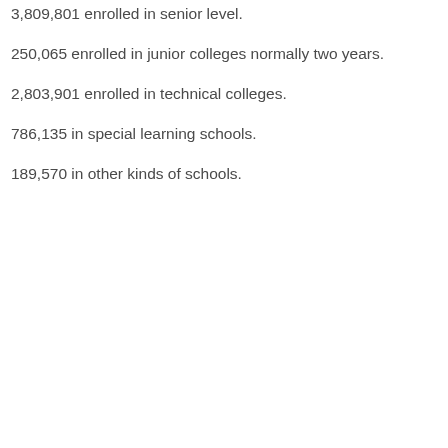3,809,801 enrolled in senior level.
250,065 enrolled in junior colleges normally two years.
2,803,901 enrolled in technical colleges.
786,135 in special learning schools.
189,570 in other kinds of schools.